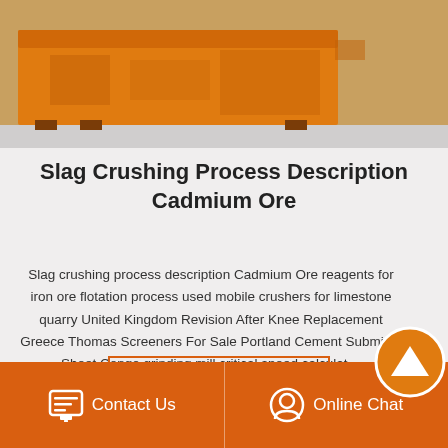[Figure (photo): Orange industrial machine/equipment on a gray floor with orange body and dark brown legs/supports]
Slag Crushing Process Description Cadmium Ore
Slag crushing process description Cadmium Ore reagents for iron ore flotation process used mobile crushers for limestone quarry United Kingdom Revision After Knee Replacement Greece Thomas Screeners For Sale Portland Cement Submittal Sheet Congo grinding mill critical speed calculat…
Read More >
Contact Us
Online Chat